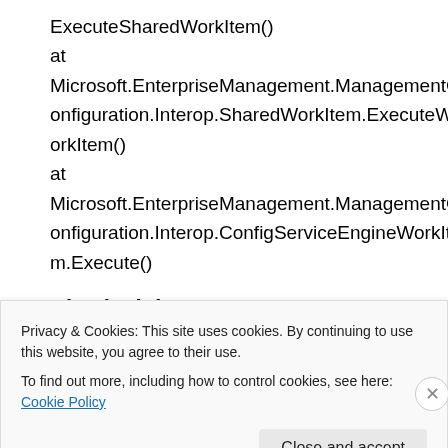ExecuteSharedWorkItem()
at Microsoft.EnterpriseManagement.ManagementConfiguration.Interop.SharedWorkItem.ExecuteWorkItem()
at Microsoft.EnterpriseManagement.ManagementConfiguration.Interop.ConfigServiceEngineWorkItem.Execute()
Checked that
Privacy & Cookies: This site uses cookies. By continuing to use this website, you agree to their use.
To find out more, including how to control cookies, see here: Cookie Policy